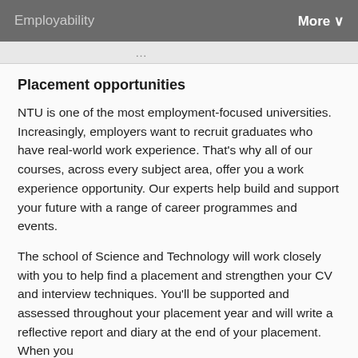Employability   More
…[cut-off text above]…
Placement opportunities
NTU is one of the most employment-focused universities. Increasingly, employers want to recruit graduates who have real-world work experience. That's why all of our courses, across every subject area, offer you a work experience opportunity. Our experts help build and support your future with a range of career programmes and events.
The school of Science and Technology will work closely with you to help find a placement and strengthen your CV and interview techniques. You'll be supported and assessed throughout your placement year and will write a reflective report and diary at the end of your placement. When you successfully complete your placement and submit it…